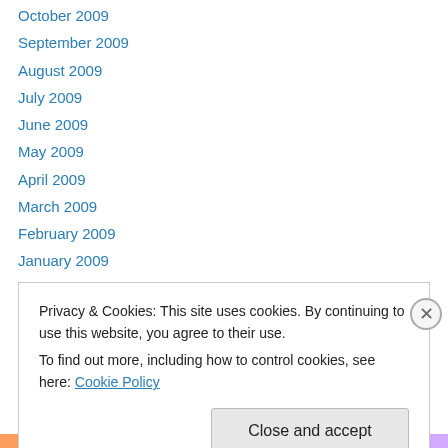October 2009
September 2009
August 2009
July 2009
June 2009
May 2009
April 2009
March 2009
February 2009
January 2009
December 2008
November 2008
October 2008
Privacy & Cookies: This site uses cookies. By continuing to use this website, you agree to their use.
To find out more, including how to control cookies, see here: Cookie Policy